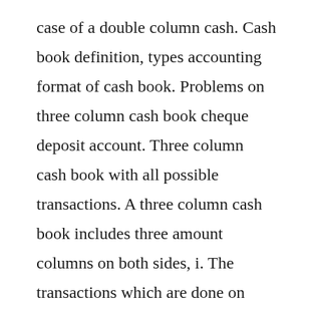case of a double column cash. Cash book definition, types accounting format of cash book. Problems on three column cash book cheque deposit account. Three column cash book with all possible transactions. A three column cash book includes three amount columns on both sides, i. The transactions which are done on credit are not recorded while preparing the double column cash book. Receipt are recorded on the debit side and payments on the credit side. Cash discount is recorded, when payments are made in cash or cheque. Transactions on 11 and 12...